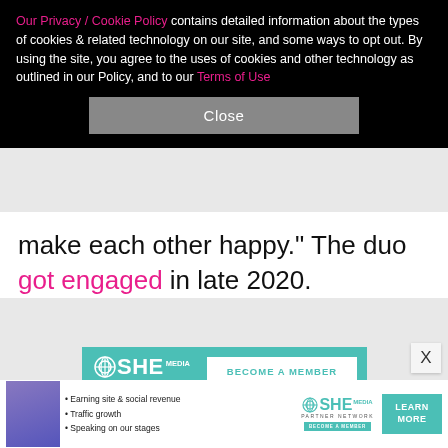Our Privacy / Cookie Policy contains detailed information about the types of cookies & related technology on our site, and some ways to opt out. By using the site, you agree to the uses of cookies and other technology as outlined in our Policy, and to our Terms of Use
Close
make each other happy." The duo got engaged in late 2020.
[Figure (advertisement): SHE Media Partner Network advertisement with teal background, logo, 'BECOME A MEMBER' button, and photo of smiling woman with glasses]
[Figure (advertisement): SHE Media bottom banner ad with woman photo, bullet points: Earning site & social revenue, Traffic growth, Speaking on our stages, SHE Media Partner Network logo, LEARN MORE button]